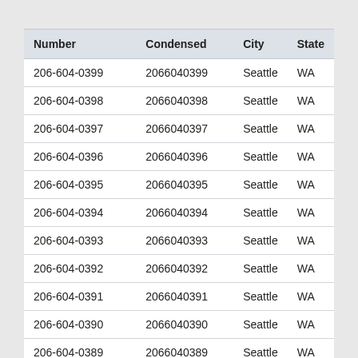| Number | Condensed | City | State |
| --- | --- | --- | --- |
| 206-604-0399 | 2066040399 | Seattle | WA |
| 206-604-0398 | 2066040398 | Seattle | WA |
| 206-604-0397 | 2066040397 | Seattle | WA |
| 206-604-0396 | 2066040396 | Seattle | WA |
| 206-604-0395 | 2066040395 | Seattle | WA |
| 206-604-0394 | 2066040394 | Seattle | WA |
| 206-604-0393 | 2066040393 | Seattle | WA |
| 206-604-0392 | 2066040392 | Seattle | WA |
| 206-604-0391 | 2066040391 | Seattle | WA |
| 206-604-0390 | 2066040390 | Seattle | WA |
| 206-604-0389 | 2066040389 | Seattle | WA |